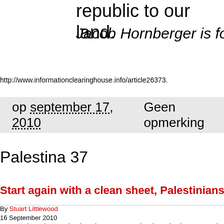republic to our land.
Jacob Hornberger is founder and pre
http://www.informationclearinghouse.info/article26373.
op september 17, 2010     Geen opmerking
Palestina 37
Start again with a clean sheet, Palestinians
By Stuart Littlewood
16 September 2010
Stuart Littlewood argues that the Palestinian National Authority has become “an abomination” enemy for what they really are”.